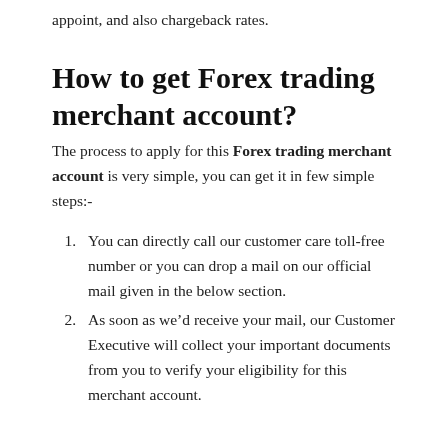appoint, and also chargeback rates.
How to get Forex trading merchant account?
The process to apply for this Forex trading merchant account is very simple, you can get it in few simple steps:-
You can directly call our customer care toll-free number or you can drop a mail on our official mail given in the below section.
As soon as we’d receive your mail, our Customer Executive will collect your important documents from you to verify your eligibility for this merchant account.